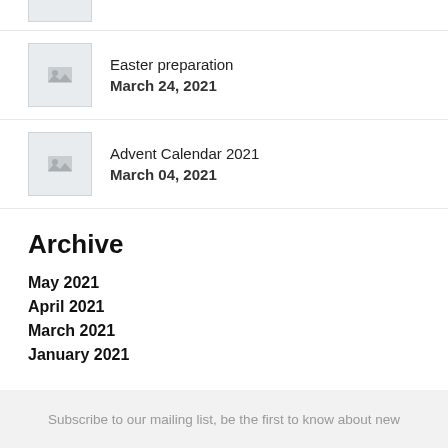[Figure (illustration): Partial thumbnail image placeholder at top of page]
Easter preparation
March 24, 2021
Advent Calendar 2021
March 04, 2021
Archive
May 2021
April 2021
March 2021
January 2021
Subscribe to our mailing list, be the first to know about new